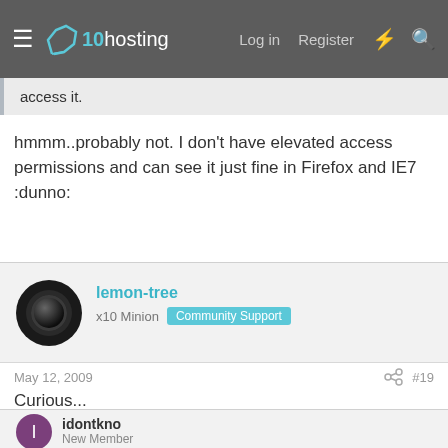x10hosting — Log in  Register
access it.
hmmm..probably not. I don't have elevated access permissions and can see it just fine in Firefox and IE7 :dunno:
lemon-tree
x10 Minion  Community Support
May 12, 2009  #19
Curious...
...conspiracy?
idontkno
New Member